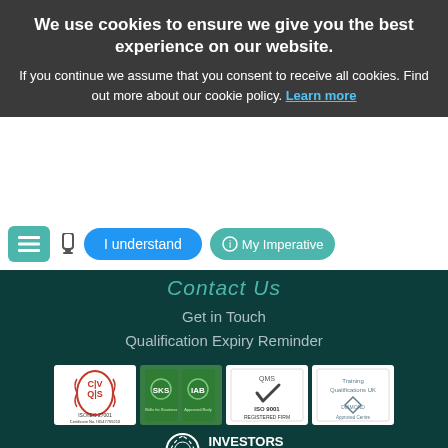We use cookies to ensure we give you the best experience on our website. If you continue we assume that you consent to receive all cookies. Find out more about our cookie policy. Learn more
I understand
My Imperative
Contact Us
Get in Touch
Qualification Expiry Reminder
[Figure (logo): Four certification logos: CQS ISO/IEC 27001, SKS/IAB logos, ISO 9001 REGISTERED FIRM (QMS), and Training Qualifications UK Diamond Approved Centre]
[Figure (logo): Investors in People logo — laurel wreath circle icon with text INVESTORS IN PEOPLE]